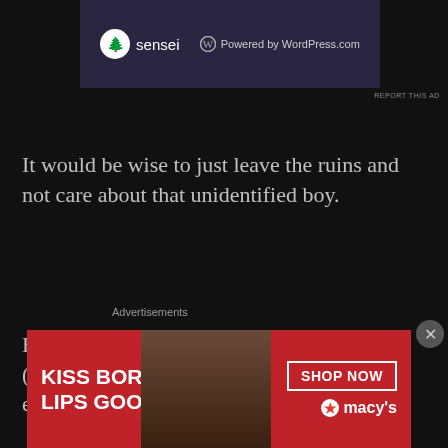[Figure (screenshot): Top advertisement banner with sensei logo and Powered by WordPress.com text on dark purple background]
REPORT THIS AD
It would be wise to just leave the ruins and not care about that unidentified boy.
However, he had said “The five Fureki (Black Wolf)-class beasts that I summoned” earlier.
In other words, he had the ability to at least call for Spiritual Beasts, and there was also the possibility of him being able to control them as
Advertisements
[Figure (screenshot): Bottom advertisement banner: KISS BORING LIPS GOODBYE with SHOP NOW button and Macy's star logo on red background]